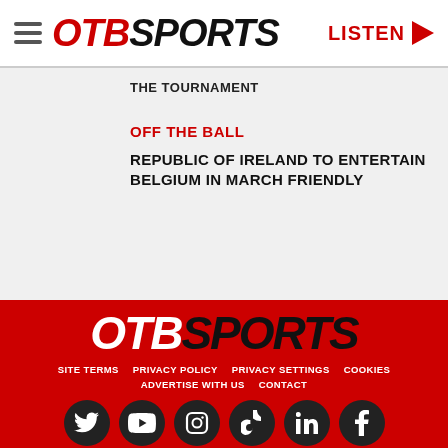OTB SPORTS | LISTEN
THE TOURNAMENT
OFF THE BALL
REPUBLIC OF IRELAND TO ENTERTAIN BELGIUM IN MARCH FRIENDLY
[Figure (logo): OTB SPORTS logo in white and black on red background in footer]
SITE TERMS   PRIVACY POLICY   PRIVACY SETTINGS   COOKIES   ADVERTISE WITH US   CONTACT
[Figure (infographic): Social media icons: Twitter, YouTube, Instagram, TikTok, LinkedIn, Facebook]
© 2022 OTB SPORTS, BAUER MEDIA AUDIO IRELAND LP, REG #LP3374